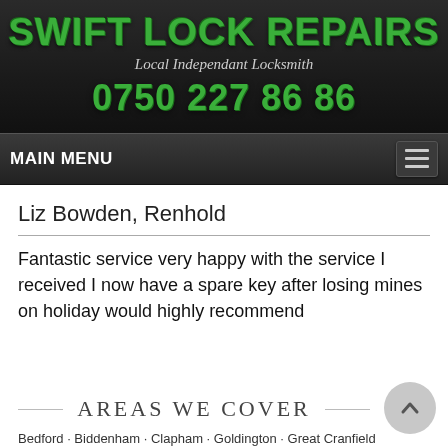SWIFT LOCK REPAIRS
Local Independant Locksmith
0750 227 86 86
MAIN MENU
Liz Bowden, Renhold
Fantastic service very happy with the service I received I now have a spare key after losing mines on holiday would highly recommend
AREAS WE COVER